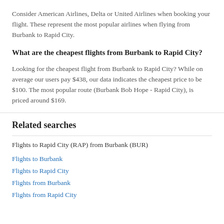Consider American Airlines, Delta or United Airlines when booking your flight. These represent the most popular airlines when flying from Burbank to Rapid City.
What are the cheapest flights from Burbank to Rapid City?
Looking for the cheapest flight from Burbank to Rapid City? While on average our users pay $438, our data indicates the cheapest price to be $100. The most popular route (Burbank Bob Hope - Rapid City), is priced around $169.
Related searches
Flights to Rapid City (RAP) from Burbank (BUR)
Flights to Burbank
Flights to Rapid City
Flights from Burbank
Flights from Rapid City